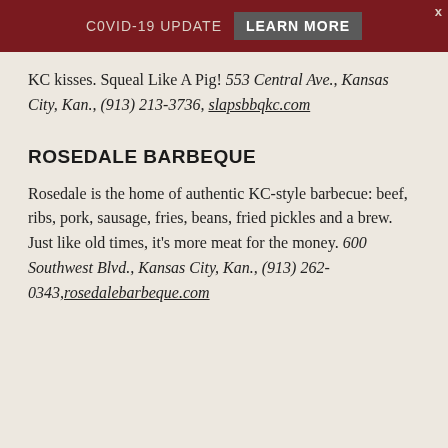C0VID-19 UPDATE  LEARN MORE
KC kisses. Squeal Like A Pig! 553 Central Ave., Kansas City, Kan., (913) 213-3736, slapsbbqkc.com
ROSEDALE BARBEQUE
Rosedale is the home of authentic KC-style barbecue: beef, ribs, pork, sausage, fries, beans, fried pickles and a brew. Just like old times, it's more meat for the money. 600 Southwest Blvd., Kansas City, Kan., (913) 262-0343, rosedalebarbeque.com